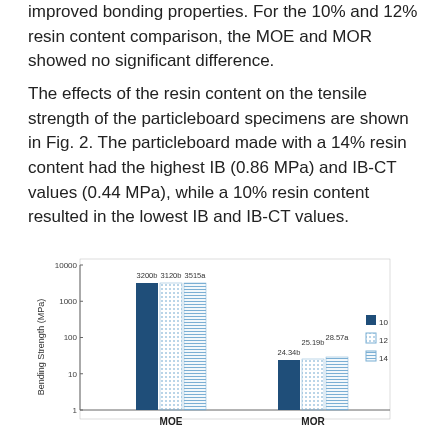improved bonding properties. For the 10% and 12% resin content comparison, the MOE and MOR showed no significant difference.
The effects of the resin content on the tensile strength of the particleboard specimens are shown in Fig. 2. The particleboard made with a 14% resin content had the highest IB (0.86 MPa) and IB-CT values (0.44 MPa), while a 10% resin content resulted in the lowest IB and IB-CT values.
[Figure (grouped-bar-chart): ]